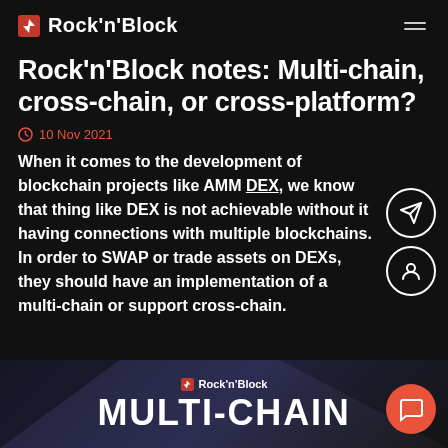Rock'n'Block
Rock'n'Block notes: Multi-chain, cross-chain, or cross-platform?
10 Nov 2021
When it comes to the development of blockchain projects like AMM DEX, we know that thing like DEX is not achievable without it having connections with multiple blockchains. In order to SWAP or trade assets on DEXs, they should have an implementation of a multi-chain or support cross-chain.
[Figure (screenshot): Bottom banner with Rock'n'Block logo and MULTI-CHAIN text on dark background]